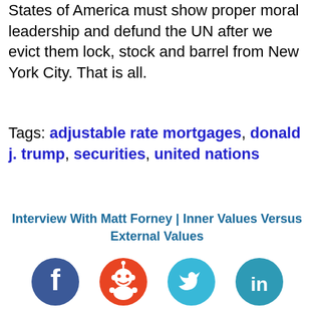States of America must show proper moral leadership and defund the UN after we evict them lock, stock and barrel from New York City. That is all.
Tags: adjustable rate mortgages, donald j. trump, securities, united nations
Interview With Matt Forney | Inner Values Versus External Values
[Figure (infographic): Four social media share icons: Facebook (blue circle with f), Reddit (red circle with alien mascot), Twitter (light blue circle with bird), LinkedIn (teal circle with 'in')]